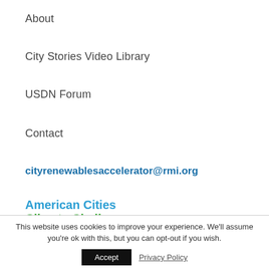About
City Stories Video Library
USDN Forum
Contact
cityrenewablesaccelerator@rmi.org
[Figure (logo): American Cities Climate Challenge Renewables Accelerator logo with two lines of text and a badge]
This website uses cookies to improve your experience. We'll assume you're ok with this, but you can opt-out if you wish.
Accept
Privacy Policy